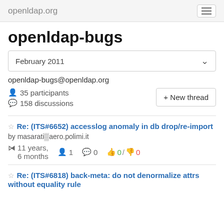openldap.org
openldap-bugs
February 2011
openldap-bugs@openldap.org
35 participants
158 discussions
+ New thread
Re: (ITS#6652) accesslog anomaly in db drop/re-import
by masarati@aero.polimi.it
11 years, 6 months  1  0  0 / 0
Re: (ITS#6818) back-meta: do not denormalize attrs without equality rule